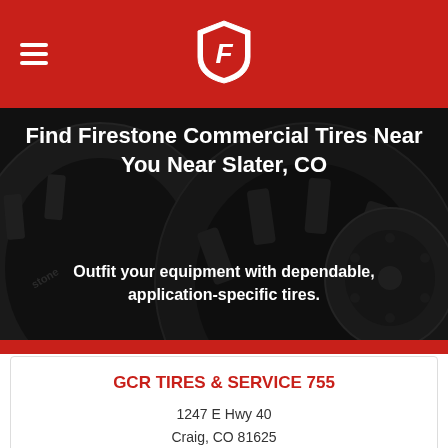Firestone header with logo
Find Firestone Commercial Tires Near You Near Slater, CO
[Figure (photo): Dark background photo of large commercial/agricultural tires]
Outfit your equipment with dependable, application-specific tires.
GCR TIRES & SERVICE 755
1247 E Hwy 40
Craig, CO 81625
Hours Today:: 8:00 am to 5:00 pm